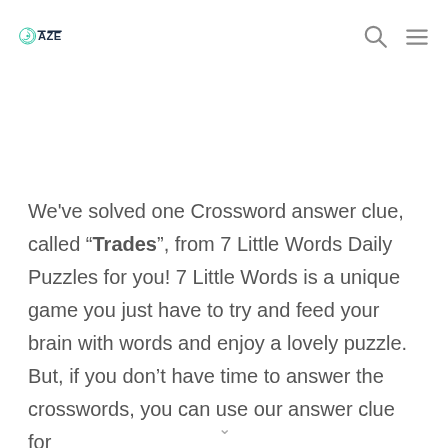DAZE [logo] [search icon] [menu icon]
We've solved one Crossword answer clue, called “Trades”, from 7 Little Words Daily Puzzles for you! 7 Little Words is a unique game you just have to try and feed your brain with words and enjoy a lovely puzzle. But, if you don’t have time to answer the crosswords, you can use our answer clue for